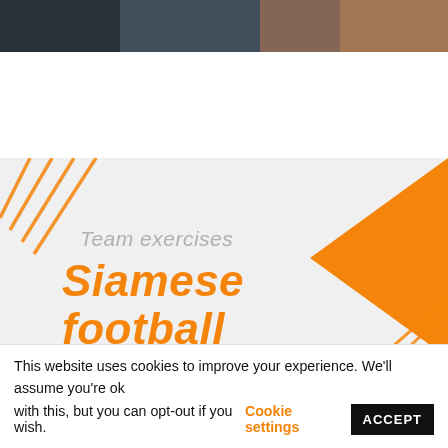[Figure (photo): Top photo strip showing people, partially cropped]
[Figure (infographic): Light grey card with orange geometric design elements (diagonal lines top-left, large orange triangle top-right, diagonal lines bottom-right). Text reads 'Team exercises' in grey italic and 'Siamese football' in large bold orange italic.]
Team exercises
Siamese football
This website uses cookies to improve your experience. We'll assume you're ok with this, but you can opt-out if you wish. Cookie settings ACCEPT